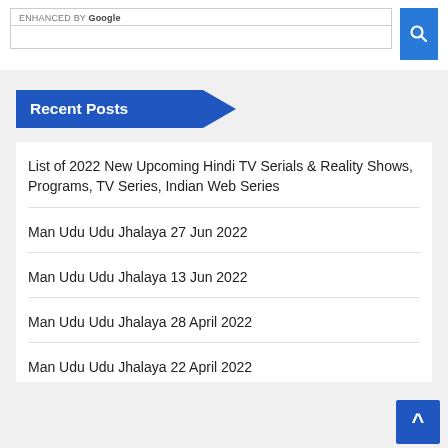[Figure (screenshot): Search box with 'ENHANCED BY Google' label and a blue search button with magnifying glass icon]
Recent Posts
List of 2022 New Upcoming Hindi TV Serials & Reality Shows, Programs, TV Series, Indian Web Series
Man Udu Udu Jhalaya 27 Jun 2022
Man Udu Udu Jhalaya 13 Jun 2022
Man Udu Udu Jhalaya 28 April 2022
Man Udu Udu Jhalaya 22 April 2022